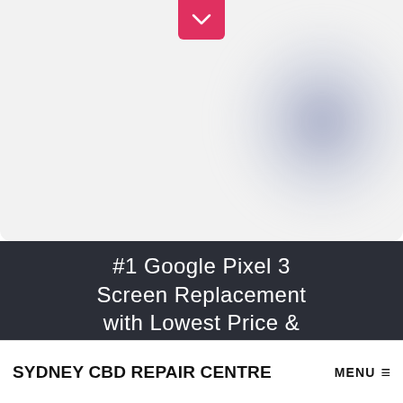[Figure (screenshot): Top section with light gray background, a pink/red chevron-down button at top center, and a blurred purple/blue orb element in the upper right area]
#1 Google Pixel 3 Screen Replacement with Lowest Price & Reliable Service
SYDNEY CBD REPAIR CENTRE MENU ≡